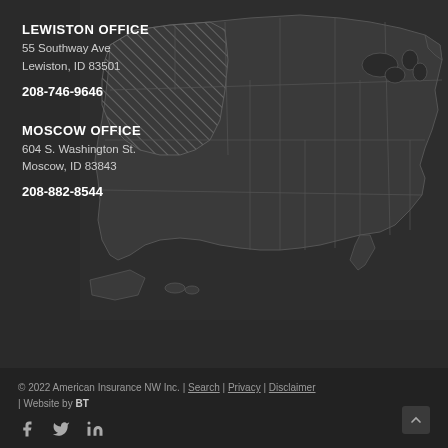LEWISTON OFFICE
55 Southway Ave
Lewiston, ID 83501
208-746-9646
MOSCOW OFFICE
604 S. Washington St.
Moscow, ID 83843
208-882-8544
[Figure (map): US map outline with shaded states, highlighting the Northwest/Idaho region with a diagonal hatch pattern]
© 2022 American Insurance NW Inc. | Search | Privacy | Disclaimer | Website by BT
[Figure (other): Social media icons: Facebook, Twitter, LinkedIn]